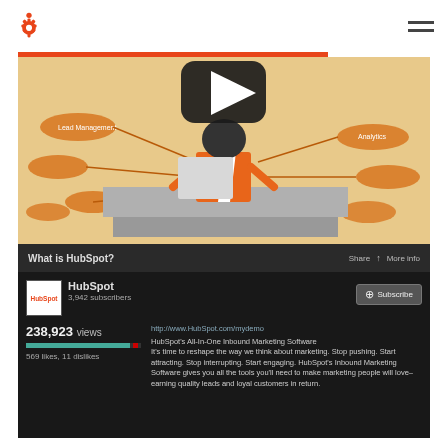[Figure (logo): HubSpot orange sprocket logo in top left nav bar]
[Figure (screenshot): YouTube video thumbnail showing animated HubSpot character in orange suit at desk with orange blob nodes and text around him, play button overlay]
What is HubSpot?
Share   ↑ More info
[Figure (logo): HubSpot channel logo thumbnail in white box]
HubSpot
3,942 subscribers
+ Subscribe
238,923 views
569 likes, 11 dislikes
http://www.HubSpot.com/mydemo
HubSpot's All-In-One Inbound Marketing Software
It's time to reshape the way we think about marketing. Stop pushing. Start attracting. Stop interrupting. Start engaging. HubSpot's Inbound Marketing Software gives you all the tools you'll need to make marketing people will love– earning quality leads and loyal customers in return.